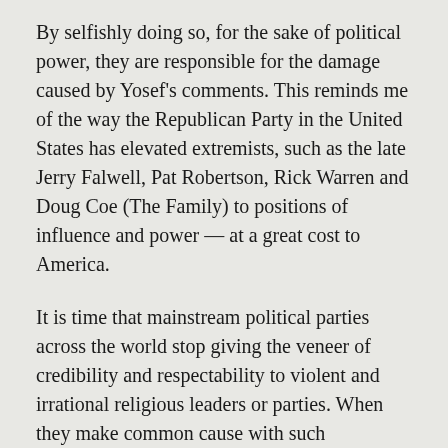By selfishly doing so, for the sake of political power, they are responsible for the damage caused by Yosef's comments. This reminds me of the way the Republican Party in the United States has elevated extremists, such as the late Jerry Falwell, Pat Robertson, Rick Warren and Doug Coe (The Family) to positions of influence and power — at a great cost to America.
It is time that mainstream political parties across the world stop giving the veneer of credibility and respectability to violent and irrational religious leaders or parties. When they make common cause with such dangerous groups or individuals, they bring down the level of dialogue, serve as barriers to peace, and divide societies.
For the world to progress in the 21st Century,